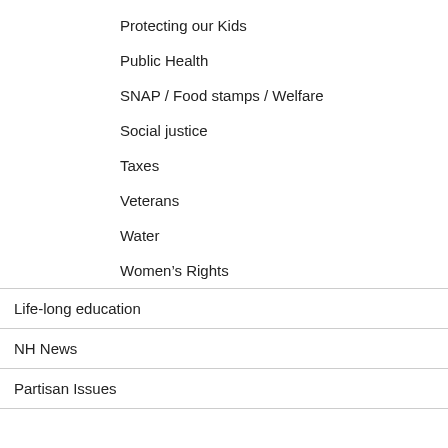Protecting our Kids
Public Health
SNAP / Food stamps / Welfare
Social justice
Taxes
Veterans
Water
Women’s Rights
Life-long education
NH News
Partisan Issues